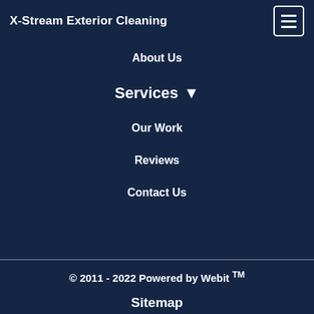X-Stream Exterior Cleaning
About Us
Services
Our Work
Reviews
Contact Us
© 2011 - 2022 Powered by Webit TM
Sitemap
Terms & Conditions
Webit Login